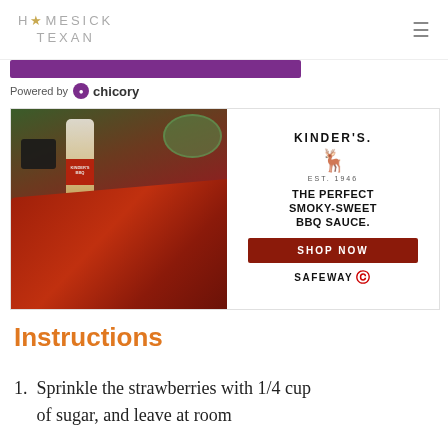HOMESICK TEXAN
[Figure (photo): Advertisement: Kinder's BBQ sauce ad with photo of BBQ ribs, a Kinder's sauce bottle, a dark mug, and a salad bowl on the left; Kinder's logo, tagline 'THE PERFECT SMOKY-SWEET BBQ SAUCE.' and Shop Now button at Safeway on the right.]
Powered by chicory
Instructions
Sprinkle the strawberries with 1/4 cup of sugar, and leave at room